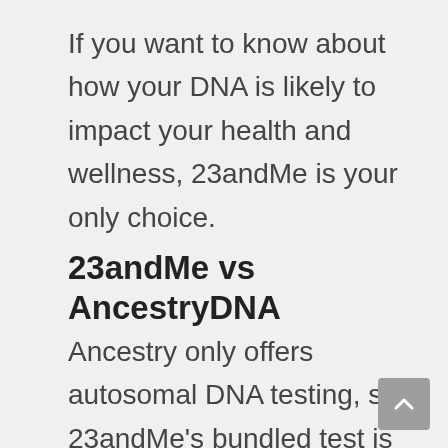If you want to know about how your DNA is likely to impact your health and wellness, 23andMe is your only choice.
23andMe vs AncestryDNA
Ancestry only offers autosomal DNA testing, so 23andMe's bundled test is going to give you more information based on your mtDNA and YDNA for close to the same price.